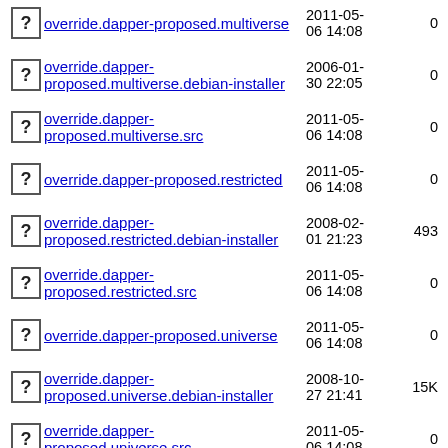override.dapper-proposed.multiverse 2011-05-06 14:08 0
override.dapper-proposed.multiverse.debian-installer 2006-01-30 22:05 0
override.dapper-proposed.multiverse.src 2011-05-06 14:08 0
override.dapper-proposed.restricted 2011-05-06 14:08 0
override.dapper-proposed.restricted.debian-installer 2008-02-01 21:23 493
override.dapper-proposed.restricted.src 2011-05-06 14:08 0
override.dapper-proposed.universe 2011-05-06 14:08 0
override.dapper-proposed.universe.debian-installer 2008-10-27 21:41 15K
override.dapper-proposed.universe.src 2011-05-06 14:08 0
override.dapper-security.extra.main 2011-05-25 03:06 242K
override.dapper-security.extra.multiverse 2011-05-25 03:06 3.4K
override.dapper- 2011-05- 28K